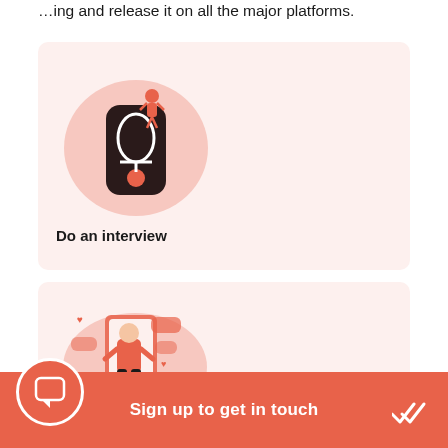…ing and release it on all the major platforms.
[Figure (illustration): Pink blob shape with a dark red/black microphone device and a small person sitting on top — representing a podcast recording scenario. Pink background card.]
Do an interview
[Figure (illustration): Pink blob shape with a person in a red shirt holding a phone/frame, surrounded by chat bubbles and hearts — representing social media or messaging. Pink background card.]
Sign up to get in touch